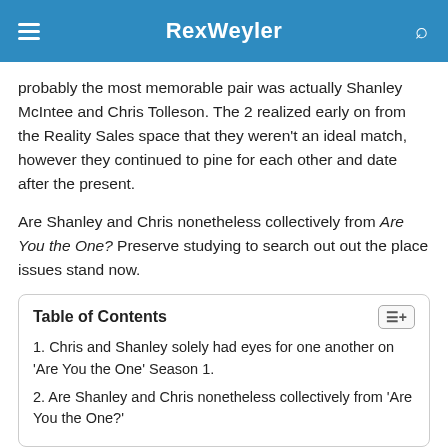RexWeyler
probably the most memorable pair was actually Shanley McIntee and Chris Tolleson. The 2 realized early on from the Reality Sales space that they weren't an ideal match, however they continued to pine for each other and date after the present.
Are Shanley and Chris nonetheless collectively from Are You the One? Preserve studying to search out out the place issues stand now.
| Table of Contents |
| --- |
| 1. Chris and Shanley solely had eyes for one another on 'Are You the One' Season 1. |
| 2. Are Shanley and Chris nonetheless collectively from 'Are You the One?' |
Chris and Shanley solely